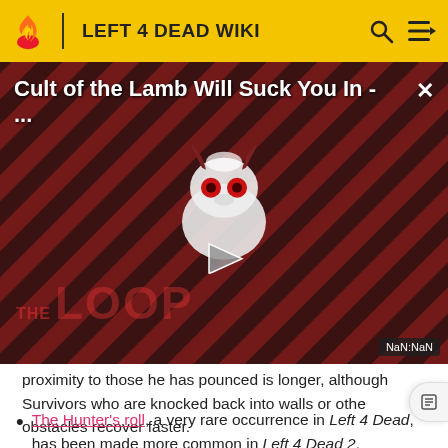LEFT 4 DEAD WIKI
[Figure (screenshot): Video thumbnail for 'Cult of the Lamb Will Suck You In - ...' with play button, diagonal red striped background, animated character logo, and THE LOOP watermark. Shows NaN:NaN timestamp.]
proximity to those he has pounced is longer, although Survivors who are knocked back into walls or other obstacles recover faster.
The Hunter's roll, a very rare occurrence in Left 4 Dead, has been made more common in Left 4 Dead 2.